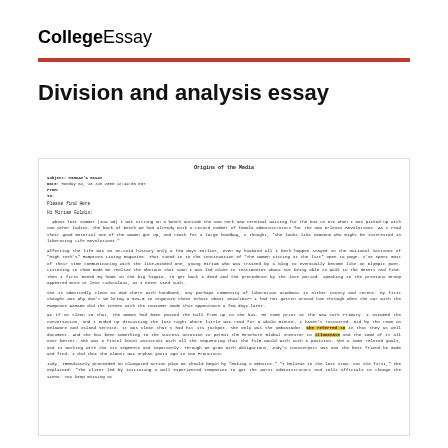CollegeEssay
Division and analysis essay
[Figure (screenshot): Scanned/rendered document page titled 'Origins of the Media' showing an email with subject 'MIRIAM'S ESSAY', dated Monday 04, 16 Jun 2003 12:49:06 EDT. Contains several paragraphs of essay text about personal experiences, discussions of media and relationships, and a narrative about a woman named Judy.]